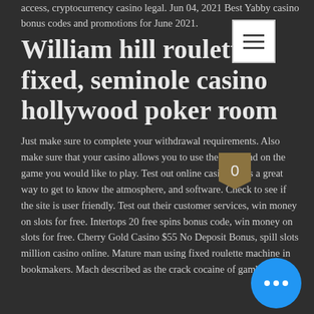access, cryptocurrency casino legal. Jun 04, 2021 Best Yabby casino bonus codes and promotions for June 2021.
William hill roulette is fixed, seminole casino hollywood poker room
Just make sure to complete your withdrawal requirements. Also make sure that your casino allows you to use the free fund on the game you would like to play. Test out online casino - this a great way to get to know the atmosphere, and software. Check to see if the site is user friendly. Test out their customer services, win money on slots for free. Intertops 20 free spins bonus code, win money on slots for free. Cherry Gold Casino $55 No Deposit Bonus, spill slots million casino online. Mature man using fixed roulette machine in bookmakers. Mach described as the crack cocaine of gambling.